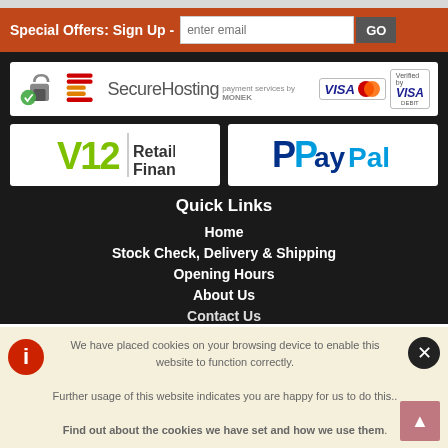Special Offers: Sign Up - [email input] GO
[Figure (logo): SecureHosting payment services by MONEK with VISA, MasterCard, and Verified by VISA logos]
[Figure (logo): V12 Retail Finance logo]
[Figure (logo): PayPal logo]
Quick Links
Home
Stock Check, Delivery & Shipping
Opening Hours
About Us
Contact Us
We have placed cookies on your browsing device to enable this website to function correctly.
Further usage of this website indicates you are happy for us to do this..
Find out about the cookies we have set and how we use them.